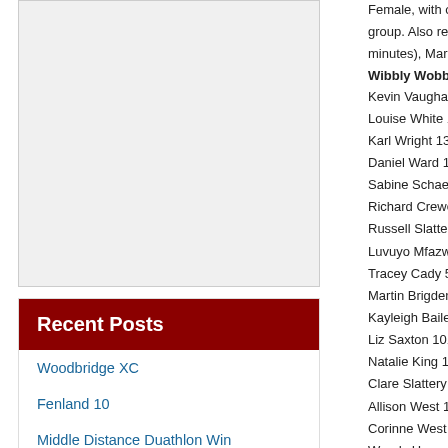[Figure (photo): Blank/white image placeholder area on the left column]
Recent Posts
Woodbridge XC
Fenland 10
Middle Distance Duathlon Win
Outlaw X Middle Distance Triathlon
Thompson 5 and 10k
Female, with only her age group.  Also representing minutes), Marion McCall
Wibbly Wobbly
Kevin Vaughan 4 31:30.
Louise White 11 34:32.5
Karl Wright 13 35:00.4
Daniel Ward 19 36:09.9
Sabine Schaefer 22 36:
Richard Crewe 29 37:30
Russell Slattery 34 38:0
Luvuyo Mfazwe 44 38:5
Tracey Cady 58 41:07.5
Martin Brigden 64 41:42
Kayleigh Bailey 89 44:38
Liz Saxton 101 45:16.7
Natalie King 105 45:03.
Clare Slattery 137 48:17
Allison West 141 48:28.
Corinne West 192 52:24
Wendy Howard 193 52:
Claire Goldstone 225 55
Norwich 10k Sunday 6
Charlie STONE 202 00:
Richard CREWE 277 00
Sam BELLOTTI 296 0